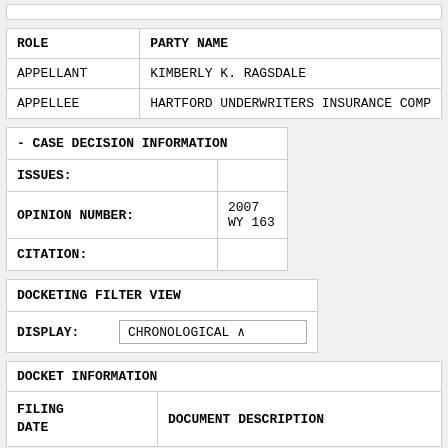| ROLE | PARTY NAME |
| --- | --- |
| APPELLANT | KIMBERLY K. RAGSDALE |
| APPELLEE | HARTFORD UNDERWRITERS INSURANCE COMP |
| - CASE DECISION INFORMATION |  |
| --- | --- |
| ISSUES: |  |
| OPINION NUMBER: | 2007 WY 163 |
| CITATION: |  |
| DOCKETING FILTER VIEW |  |
| --- | --- |
| DISPLAY: | CHRONOLOGICAL ∨ |
| DOCKET INFORMATION |
| --- |
| FILING
DATE | DOCUMENT DESCRIPTION |